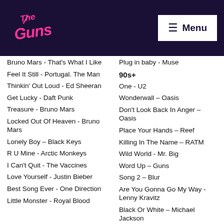The Guns | Menu
Bruno Mars - That's What I Like
Feel It Still - Portugal. The Man
Thinkin' Out Loud - Ed Sheeran
Get Lucky - Daft Punk
Treasure - Bruno Mars
Locked Out Of Heaven - Bruno Mars
Lonely Boy – Black Keys
R U Mine - Arctic Monkeys
I Can't Quit - The Vaccines
Love Yourself - Justin Bieber
Best Song Ever - One Direction
Little Monster - Royal Blood
Plug in baby - Muse
90s+
One - U2
Wonderwall – Oasis
Don't Look Back In Anger – Oasis
Place Your Hands – Reef
Killing In The Name – RATM
Wild World - Mr. Big
Word Up – Guns
Song 2 – Blur
Are You Gonna Go My Way - Lenny Kravitz
Black Or White – Michael Jackson
Learn To Fly - Foo Fighters
I Don't Wanna Miss A Thing